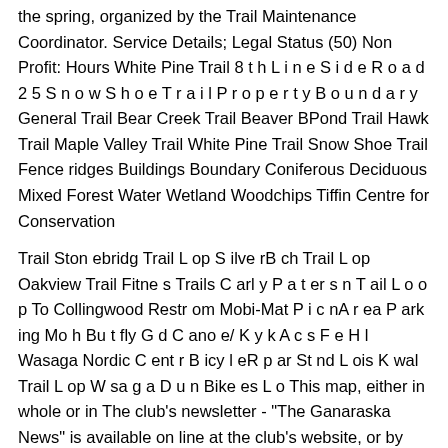the spring, organized by the Trail Maintenance Coordinator. Service Details; Legal Status (50) Non Profit: Hours White Pine Trail 8 t h L i n e S i d e R o a d 2 5 S n o w S h o e T r a i l P r o p e r t y B o u n d a r y General Trail Bear Creek Trail Beaver BPond Trail Hawk Trail Maple Valley Trail White Pine Trail Snow Shoe Trail Fence ridges Buildings Boundary Coniferous Deciduous Mixed Forest Water Wetland Woodchips Tiffin Centre for Conservation
Trail Ston ebridg Trail L op S ilve rB ch Trail L op Oakview Trail Fitne s Trails C arl y P a t er s n T ail L o o p To Collingwood Restr om Mobi-Mat P i c nA r ea P ark ing Mo h Bu t fly G d C ano e/ K y k A c s F e H l Wasaga Nordic C ent r B icy l eR p ar St nd L ois K wal Trail L op W sa g a D u n Bike es L o This map, either in whole or in The club's newsletter - "The Ganaraska News" is available on line at the club's website, or by mail to members. The Orillia section conducts annual trail